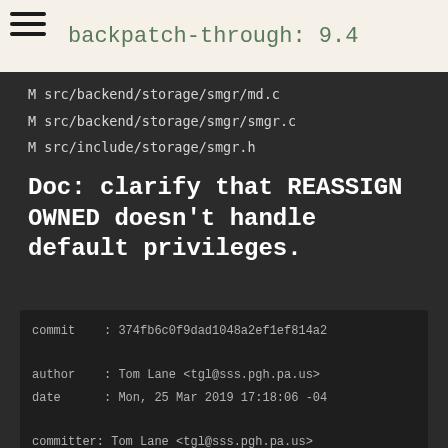backpatch-through: 9.4
M src/backend/storage/smgr/md.c
M src/backend/storage/smgr/smgr.c
M src/include/storage/smgr.h
Doc: clarify that REASSIGN OWNED doesn't handle default privileges.
commit    : 374fb6c0f9dad1048a2ef1ef814a2
author    : Tom Lane <tgl@sss.pgh.pa.us>
date      : Mon, 25 Mar 2019 17:18:06 -04

committer: Tom Lane <tgl@sss.pgh.pa.us>
date      : Mon, 25 Mar 2019 17:18:06 -04